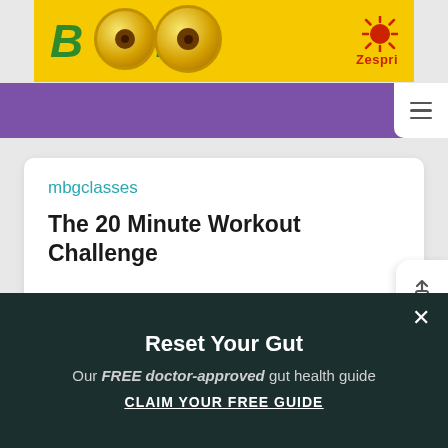[Figure (screenshot): Zespri kiwi brand banner advertisement with yellow background showing 'BOOM!' text in green and kiwi fruit images with Zespri logo]
[Figure (screenshot): Purple navigation bar with hamburger menu icon on right]
mbgclasses
The 20 Minute Workout Challenge
WITH SHAUNA HARRISON, PH.D.
[Figure (screenshot): Teal/blue colored section at bottom of card]
Reset Your Gut
Our FREE doctor-approved gut health guide
CLAIM YOUR FREE GUIDE